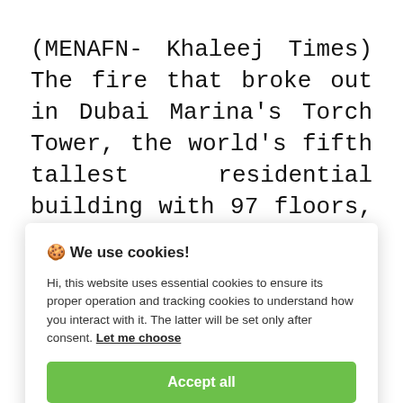(MENAFN- Khaleej Times) The fire that broke out in Dubai Marina's Torch Tower, the world's fifth tallest residential building with 97 floors, has impacted 70
🍪 We use cookies!
Hi, this website uses essential cookies to ensure its proper operation and tracking cookies to understand how you interact with it. The latter will be set only after consent. Let me choose
Accept all
Reject all
corner. The fire slightly damaged the